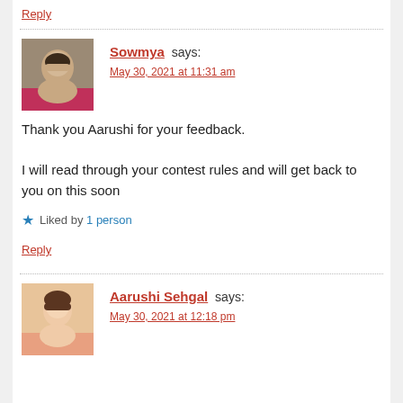Reply
Sowmya says:
May 30, 2021 at 11:31 am
Thank you Aarushi for your feedback.
I will read through your contest rules and will get back to you on this soon
Liked by 1 person
Reply
Aarushi Sehgal says:
May 30, 2021 at 12:18 pm